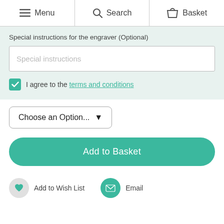Menu  Search  Basket
Special instructions for the engraver (Optional)
Special instructions
I agree to the terms and conditions
Choose an Option...
Add to Basket
Add to Wish List   Email